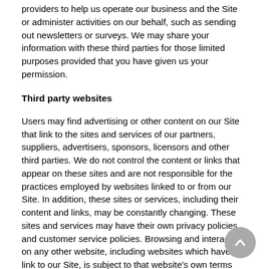providers to help us operate our business and the Site or administer activities on our behalf, such as sending out newsletters or surveys. We may share your information with these third parties for those limited purposes provided that you have given us your permission.
Third party websites
Users may find advertising or other content on our Site that link to the sites and services of our partners, suppliers, advertisers, sponsors, licensors and other third parties. We do not control the content or links that appear on these sites and are not responsible for the practices employed by websites linked to or from our Site. In addition, these sites or services, including their content and links, may be constantly changing. These sites and services may have their own privacy policies and customer service policies. Browsing and interaction on any other website, including websites which have a link to our Site, is subject to that website's own terms and policies.
Changes to this privacy policy